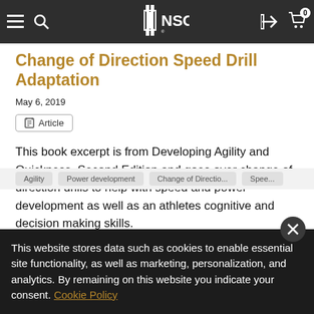NSCA navigation bar with menu, search, logo, login, and cart icons
Change of Direction Speed Drill Adaptation
May 6, 2019
Article
This book excerpt is from Developing Agility and Quickness, Second Edition and goes over change of direction drills to help with speed and power development as well as an athletes cognitive and decision making skills.
This website stores data such as cookies to enable essential site functionality, as well as marketing, personalization, and analytics. By remaining on this website you indicate your consent. Cookie Policy